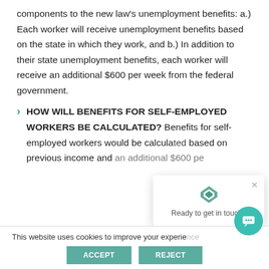components to the new law's unemployment benefits: a.) Each worker will receive unemployment benefits based on the state in which they work, and b.) In addition to their state unemployment benefits, each worker will receive an additional $600 per week from the federal government.
HOW WILL BENEFITS FOR SELF-EMPLOYED WORKERS BE CALCULATED? Benefits for self-employed workers would be calculated based on previous income and an additional $600 pe[r week]
This website uses cookies to improve your experience